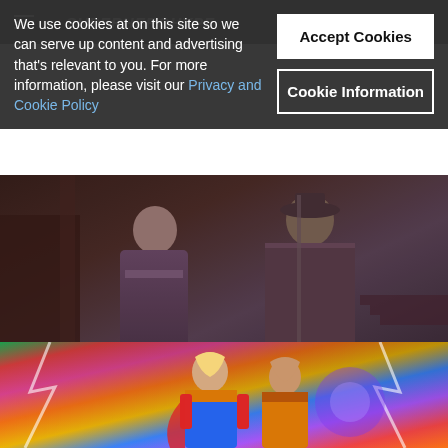SuperHeroHype
We use cookies at on this site so we can serve up content and advertising that's relevant to you. For more information, please visit our Privacy and Cookie Policy
Accept Cookies
Cookie Information
[Figure (photo): Two figures in purple/grey robes and costumes from The Boys TV show, standing in a dimly lit industrial setting]
Eric Kripke Confirms That The Boys Season 4 Is Now Filming
[Figure (photo): Colorful Thor movie promotional image showing two Thor characters against a vibrant rainbow background]